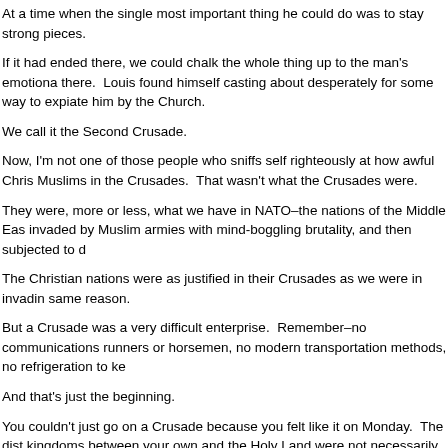At a time when the single most important thing he could do was to stay strong pieces.
If it had ended there, we could chalk the whole thing up to the man's emotiona there.  Louis found himself casting about desperately for some way to expiate him by the Church.
We call it the Second Crusade.
Now, I'm not one of those people who sniffs self righteously at how awful Chris Muslims in the Crusades.  That wasn't what the Crusades were.
They were, more or less, what we have in NATO–the nations of the Middle Eas invaded by Muslim armies with mind-boggling brutality, and then subjected to d
The Christian nations were as justified in their Crusades as we were in invadin same reason.
But a Crusade was a very difficult enterprise.  Remember–no communications runners or horsemen, no modern transportation methods, no refrigeration to ke
And that's just the beginning.
You couldn't just go on a Crusade because you felt like it on Monday.  The dist kingdoms between your own and the Holy Land were not necessarily friendly t